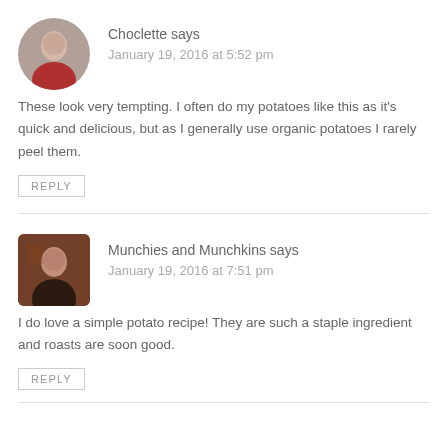Choclette says
January 19, 2016 at 5:52 pm
These look very tempting. I often do my potatoes like this as it's quick and delicious, but as I generally use organic potatoes I rarely peel them.
REPLY
Munchies and Munchkins says
January 19, 2016 at 7:51 pm
I do love a simple potato recipe! They are such a staple ingredient and roasts are soon good.
REPLY